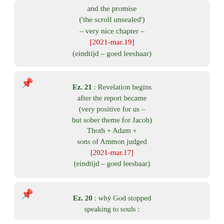and the promise ('the scroll unsealed') – very nice chapter – [2021-mar.19] (eindtijd – goed leesbaar)
Ez. 21 : Revelation begins after the report became (very positive for us – but sober theme for Jacob) Thoth + Adam + sons of Ammon judged [2021-mar.17] (eindtijd – goed leesbaar)
Ez. 20 : whý God stopped speaking to souls :